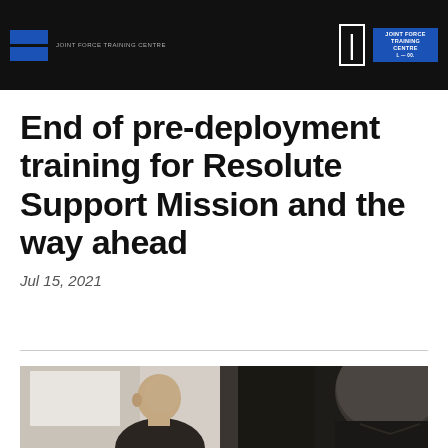JOINT FORCE TRAINING CENTRE
End of pre-deployment training for Resolute Support Mission and the way ahead
Jul 15, 2021
[Figure (photo): Two men in a meeting room setting, one bald man visible from front/side, another man visible from behind on the right side of frame]